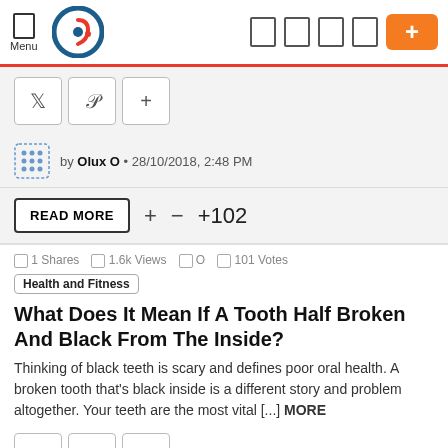Menu
[Figure (screenshot): Social share buttons: Twitter, Pinterest, plus]
by Olux O • 28/10/2018, 2:48 PM
READ MORE + − +102
1 Shares  1.6k Views  0  101 Votes
Health and Fitness
What Does It Mean If A Tooth Half Broken And Black From The Inside?
Thinking of black teeth is scary and defines poor oral health. A broken tooth that's black inside is a different story and problem altogether. Your teeth are the most vital [...] MORE
[Figure (screenshot): Bottom social share buttons: Twitter, Pinterest, plus]